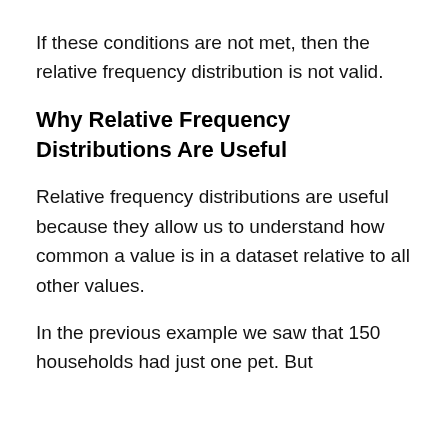If these conditions are not met, then the relative frequency distribution is not valid.
Why Relative Frequency Distributions Are Useful
Relative frequency distributions are useful because they allow us to understand how common a value is in a dataset relative to all other values.
In the previous example we saw that 150 households had just one pet. But